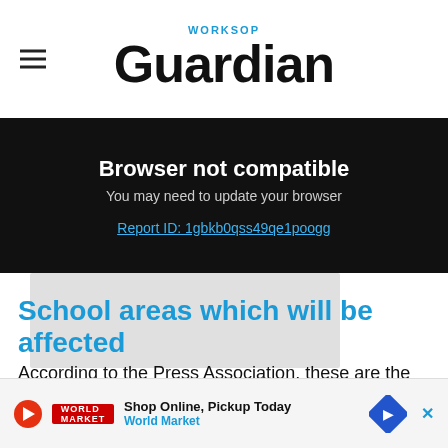Worksop Guardian
Browser not compatible
You may need to update your browser
Report ID: 1gbkb0qss49qe1poogg
[Figure (photo): Gray placeholder image area]
School areas which will be affected
According to the Press Association, these are the areas where it is expected that primary schools to all pu...
[Figure (other): Advertisement banner: Shop Online, Pickup Today - World Market]